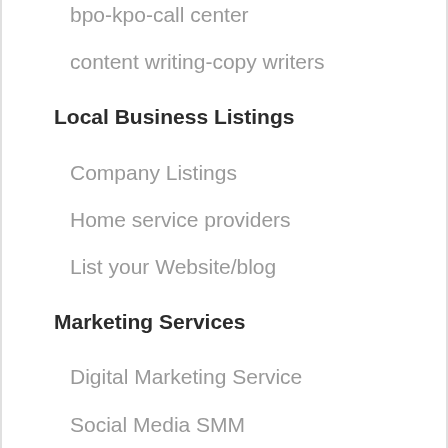bpo-kpo-call center
content writing-copy writers
Local Business Listings
Company Listings
Home service providers
List your Website/blog
Marketing Services
Digital Marketing Service
Social Media SMM
Real Estate Properties
Commercial Apartments
Contractor